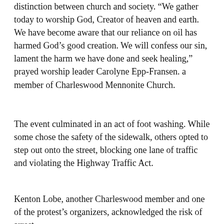distinction between church and society. “We gather today to worship God, Creator of heaven and earth. We have become aware that our reliance on oil has harmed God’s good creation. We will confess our sin, lament the harm we have done and seek healing,” prayed worship leader Carolyne Epp-Fransen. a member of Charleswood Mennonite Church.
The event culminated in an act of foot washing. While some chose the safety of the sidewalk, others opted to step out onto the street, blocking one lane of traffic and violating the Highway Traffic Act.
Kenton Lobe, another Charleswood member and one of the protest’s organizers, acknowledged the risk of arrest